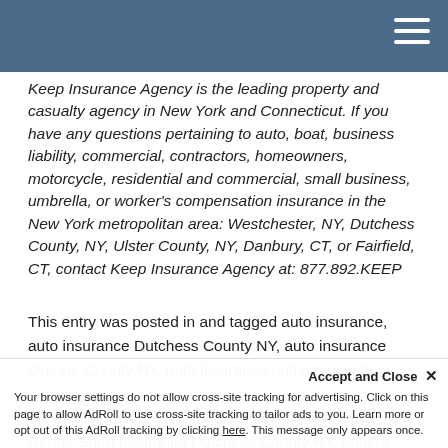Keep Insurance Agency is the leading property and casualty agency in New York and Connecticut. If you have any questions pertaining to auto, boat, business liability, commercial, contractors, homeowners, motorcycle, residential and commercial, small business, umbrella, or worker's compensation insurance in the New York metropolitan area: Westchester, NY, Dutchess County, NY, Ulster County, NY, Danbury, CT, or Fairfield, CT, contact Keep Insurance Agency at: 877.892.KEEP
This entry was posted in and tagged auto insurance, auto insurance Dutchess County NY, auto insurance Orange County NY, auto insurance putnam county ny, auto insurance Rockland County NY, auto insurance Westchester Count NY, auto repair shop insurance, Auto Repair Shop Insurance Dutchess County NY, auto re...
Accept and Close ✕ Your browser settings do not allow cross-site tracking for advertising. Click on this page to allow AdRoll to use cross-site tracking to tailor ads to you. Learn more or opt out of this AdRoll tracking by clicking here. This message only appears once.